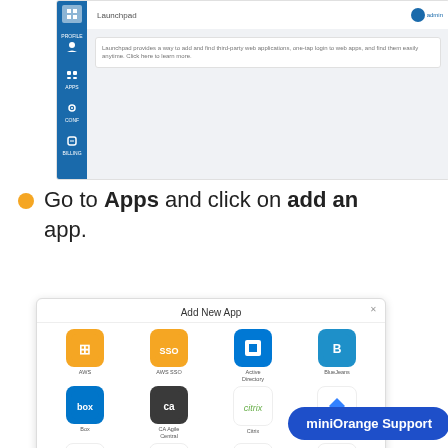[Figure (screenshot): Screenshot of a web application showing a Launchpad interface with a dark blue sidebar and main content area with an info box.]
Go to Apps and click on add an app.
[Figure (screenshot): Screenshot of an 'Add New App' dialog showing a grid of app icons including AWS, AWS SSO, Active Directory, BlueJeans, Box, CA Agile Central, Citrix, Dropbox, Educate, FreshDesk, FreshService, Github.com, Google Apps, Jive, and more.]
miniOrange Support